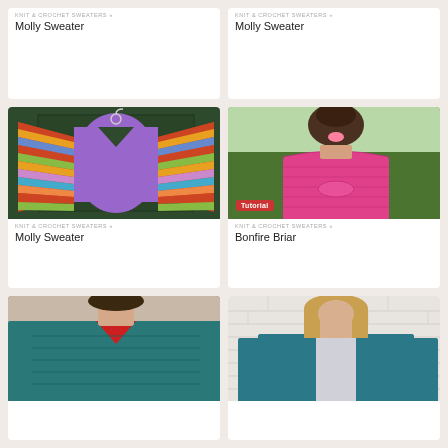KNIT & CROCHET SWEATERS »
Molly Sweater
KNIT & CROCHET SWEATERS »
Molly Sweater
[Figure (photo): Purple crochet sweater with colorful striped sleeves hanging on a dark green door]
KNIT & CROCHET SWEATERS »
Molly Sweater
[Figure (photo): Back view of woman wearing bright pink off-shoulder knit sweater outdoors with trees in background. Tutorial badge shown.]
KNIT & CROCHET SWEATERS »
Bonfire Briar
[Figure (photo): Person wearing teal/blue knit sweater with red collar visible at neck]
[Figure (photo): Woman wearing teal blue cardigan standing against white brick wall]